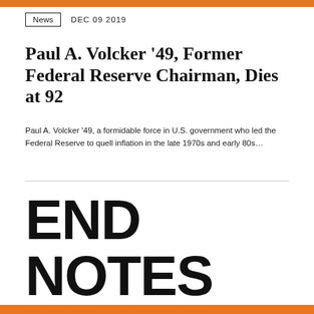News  DEC 09 2019
Paul A. Volcker '49, Former Federal Reserve Chairman, Dies at 92
Paul A. Volcker '49, a formidable force in U.S. government who led the Federal Reserve to quell inflation in the late 1970s and early 80s…
END NOTES